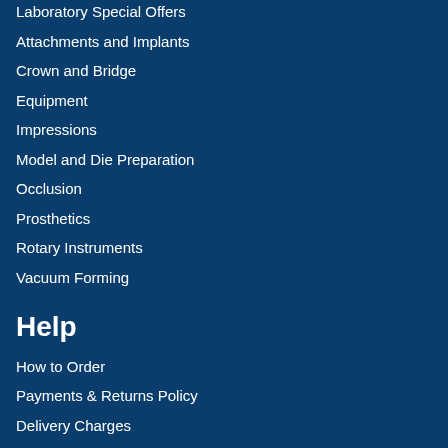Laboratory Special Offers
Attachments and Implants
Crown and Bridge
Equipment
Impressions
Model and Die Preparation
Occlusion
Prosthetics
Rotary Instruments
Vacuum Forming
Help
How to Order
Payments & Returns Policy
Delivery Charges